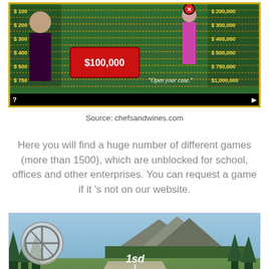[Figure (screenshot): Deal or No Deal game screenshot showing a game board with dollar amounts on left ($100, $200, $300, $400, $500, $750) and right ($200,000, $300,000, $400,000, $500,000, $750,000, $1,000,000), host figure on left, model figure on right, briefcase showing $100,000, and text 'Open your case.']
Source: chefsandwines.com
Here you will find a huge number of different games (more than 1500), which are unblocked for school, offices and other enterprises. You can request a game if it 's not on our website.
[Figure (screenshot): Racing game screenshot showing a road with three cars in positions 1st, 2nd, 3rd, mountain scenery, forest, steering wheel overlay in top left corner, and up arrow in bottom right.]